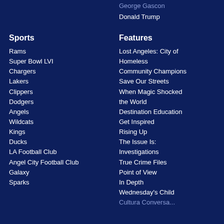George Gascon
Donald Trump
Sports
Rams
Super Bowl LVI
Chargers
Lakers
Clippers
Dodgers
Angels
Wildcats
Kings
Ducks
LA Football Club
Angel City Football Club
Galaxy
Sparks
Features
Lost Angeles: City of Homeless
Community Champions
Save Our Streets
When Magic Shocked the World
Destination Education
Get Inspired
Rising Up
The Issue Is:
Investigations
True Crime Files
Point of View
In Depth
Wednesday's Child
Cultura Conversation